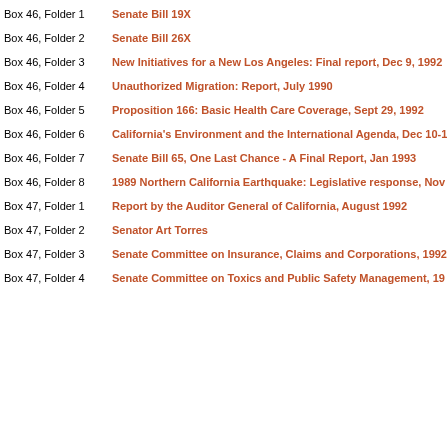Box 46, Folder 1 — Senate Bill 19X
Box 46, Folder 2 — Senate Bill 26X
Box 46, Folder 3 — New Initiatives for a New Los Angeles: Final report, Dec 9, 1992
Box 46, Folder 4 — Unauthorized Migration: Report, July 1990
Box 46, Folder 5 — Proposition 166: Basic Health Care Coverage, Sept 29, 1992
Box 46, Folder 6 — California's Environment and the International Agenda, Dec 10-1
Box 46, Folder 7 — Senate Bill 65, One Last Chance - A Final Report, Jan 1993
Box 46, Folder 8 — 1989 Northern California Earthquake: Legislative response, Nov
Box 47, Folder 1 — Report by the Auditor General of California, August 1992
Box 47, Folder 2 — Senator Art Torres
Box 47, Folder 3 — Senate Committee on Insurance, Claims and Corporations, 1992
Box 47, Folder 4 — Senate Committee on Toxics and Public Safety Management, 19